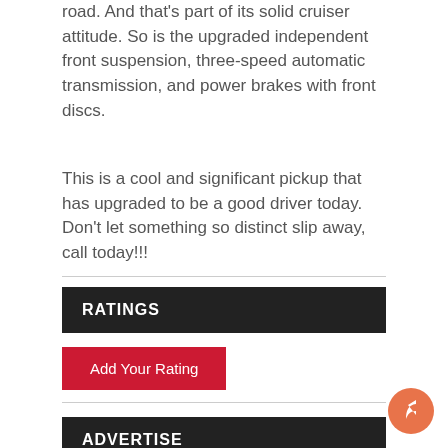road. And that's part of its solid cruiser attitude. So is the upgraded independent front suspension, three-speed automatic transmission, and power brakes with front discs.
This is a cool and significant pickup that has upgraded to be a good driver today. Don't let something so distinct slip away, call today!!!
RATINGS
Add Your Rating
ADVERTISE
STREETSIDE CLASSIC CARS PHOENIX